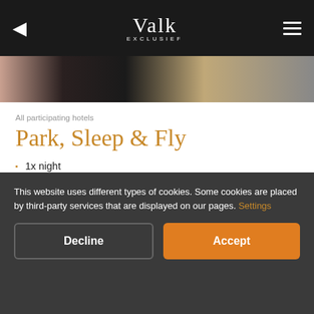Valk EXCLUSIEF
[Figure (photo): Hotel/fashion imagery background strip]
All participating hotels
Park, Sleep & Fly
1x night
1x free parking
1x free transfer from and to the airport*
Optional luxury breakfast buffet
This website uses different types of cookies. Some cookies are placed by third-party services that are displayed on our pages. Settings
Decline | Accept